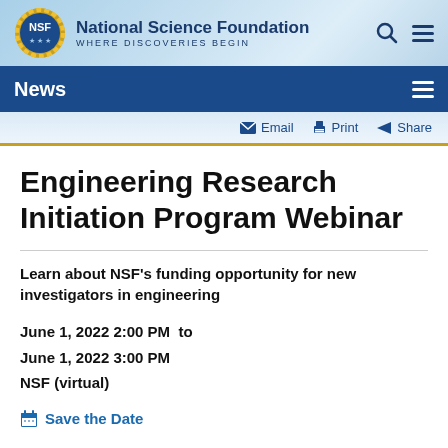[Figure (logo): NSF (National Science Foundation) header with logo, site name, tagline WHERE DISCOVERIES BEGIN, search icon, and hamburger menu]
News
Email  Print  Share
Engineering Research Initiation Program Webinar
Learn about NSF's funding opportunity for new investigators in engineering
June 1, 2022 2:00 PM  to
June 1, 2022 3:00 PM
NSF (virtual)
Save the Date